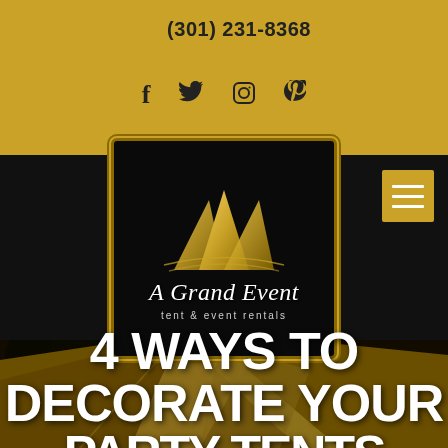(301) 231-8368
[Figure (logo): Social media icons: Facebook (f), Twitter, Instagram, Pinterest]
[Figure (logo): A Grand Event tent & event rentals logo — black rectangular badge with gold tent/mountain silhouette and script text]
[Figure (photo): Background photo of golden/amber party tent fabric, dimly lit outdoor scene]
4 WAYS TO DECORATE YOUR PARTY TENTS